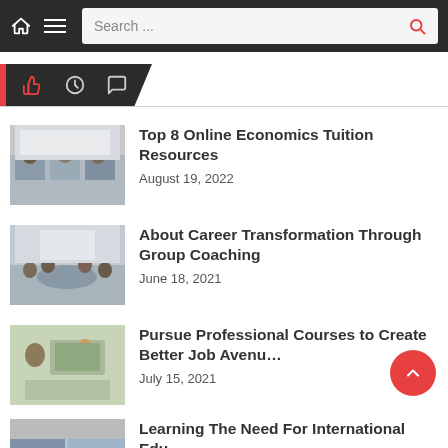Navigation bar with home icon, hamburger menu, and search field
[Figure (screenshot): Tab row with thumbs-up (red), clock, and chat bubble icons on dark background]
[Figure (photo): Students working on laptops in a classroom setting]
Top 8 Online Economics Tuition Resources
August 19, 2022
[Figure (photo): People seated around a table in a coaching or meeting session]
About Career Transformation Through Group Coaching
June 18, 2021
[Figure (photo): Two people at a desk with laptop, professional setting]
Pursue Professional Courses to Create Better Job Avenues
July 15, 2021
[Figure (photo): Technology-related image, partially visible]
Learning The Need For International Edu…